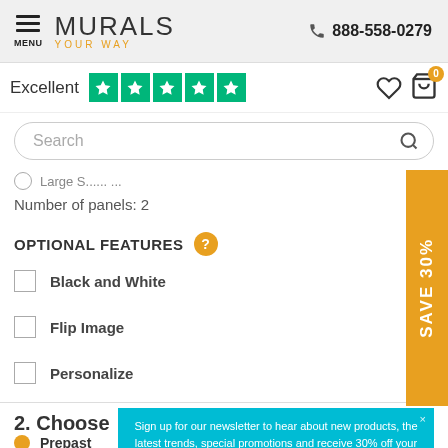MENU | MURALS YOUR WAY | 888-558-0279
Excellent ★★★★★
Search
Number of panels: 2
OPTIONAL FEATURES
Black and White
Flip Image
Personalize
SAVE 30%
2. Choose
Prepaste
Sign up for our newsletter to hear about new products, the latest trends, special promotions and receive 30% off your order.
Sign Up
No thanks